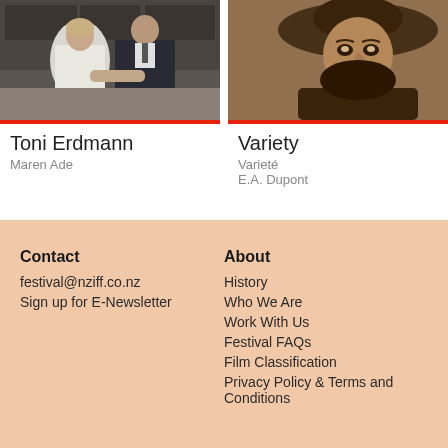[Figure (photo): Film still from Toni Erdmann showing a woman in a white blouse and a man in a suit in a kitchen setting]
Toni Erdmann
Maren Ade
[Figure (photo): Sepia-toned vintage film still from Variety showing a woman with a wide-brimmed hat]
Variety
Varieté
E.A. Dupont
Contact
festival@nziff.co.nz
Sign up for E-Newsletter
About
History
Who We Are
Work With Us
Festival FAQs
Film Classification
Privacy Policy & Terms and Conditions